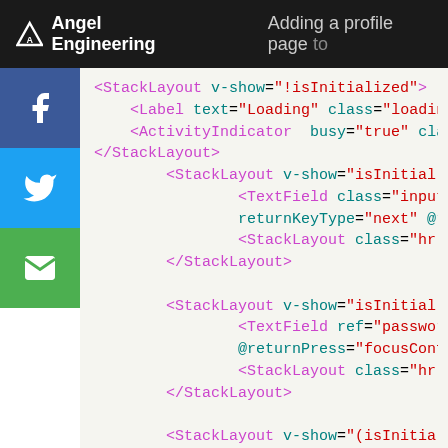Angel Engineering — Adding a profile page to
[Figure (screenshot): Social share sidebar with Facebook, Twitter, and Email buttons]
<StackLayout v-show="!isInitialized">
    <Label text="Loading" class="loading
    <ActivityIndicator  busy="true" clas
</StackLayout>
        <StackLayout v-show="isInitial
                <TextField class="input" h
                returnKeyType="next" @ret
                <StackLayout class="hr-lig
        </StackLayout>

        <StackLayout v-show="isInitial
                <TextField ref="password"
                @returnPress="focusConfir
                <StackLayout class="hr-lig
        </StackLayout>

        <StackLayout v-show="(isInitia
                <TextField ref="confirmPas